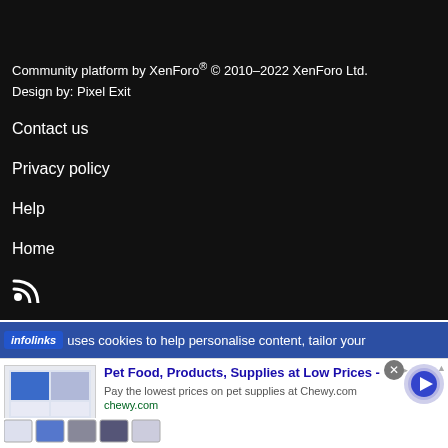Community platform by XenForo® © 2010–2022 XenForo Ltd.
Design by: Pixel Exit
Contact us
Privacy policy
Help
Home
[Figure (other): RSS feed icon (wifi/RSS symbol in white)]
infolinks  uses cookies to help personalise content, tailor your
[Figure (other): Advertisement: Pet Food, Products, Supplies at Low Prices - Chewy.com. Shows product images and a blue circular play button.]